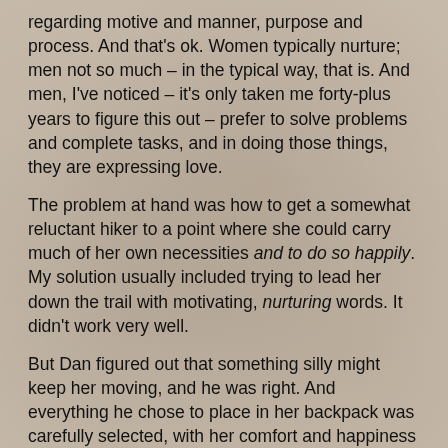regarding motive and manner, purpose and process. And that's ok. Women typically nurture; men not so much – in the typical way, that is. And men, I've noticed – it's only taken me forty-plus years to figure this out – prefer to solve problems and complete tasks, and in doing those things, they are expressing love.
The problem at hand was how to get a somewhat reluctant hiker to a point where she could carry much of her own necessities and to do so happily. My solution usually included trying to lead her down the trail with motivating, nurturing words. It didn't work very well.
But Dan figured out that something silly might keep her moving, and he was right. And everything he chose to place in her backpack was carefully selected, with her comfort and happiness in mind. If confronted with that, though, I can hear him give his variation of if the girls of the house ain't happy, ain't nobody happy.
As we walk further, past saguaros and palo verde trees, Madeleine never loses pace, never loses hope. Wage and